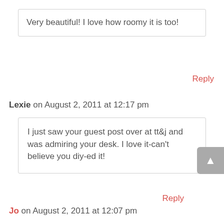Very beautiful! I love how roomy it is too!
Reply
Lexie on August 2, 2011 at 12:17 pm
I just saw your guest post over at tt&j and was admiring your desk. I love it-can't believe you diy-ed it!
Reply
Jo on August 2, 2011 at 12:07 pm
I love it!...and I love power tools, you did a great job,looks amazing.